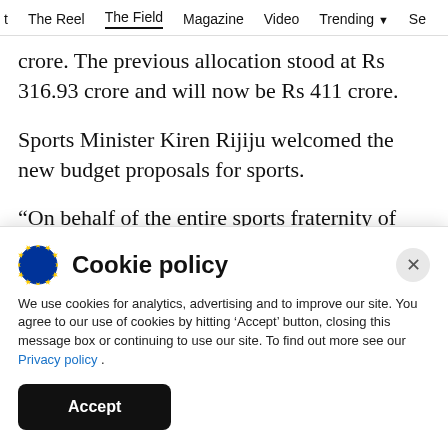t  The Reel  The Field  Magazine  Video  Trending  See
crore. The previous allocation stood at Rs 316.93 crore and will now be Rs 411 crore.
Sports Minister Kiren Rijiju welcomed the new budget proposals for sports.
“On behalf of the entire sports fraternity of India I would like to extend my sincere gratitude to
Cookie policy
We use cookies for analytics, advertising and to improve our site. You agree to our use of cookies by hitting ‘Accept’ button, closing this message box or continuing to use our site. To find out more see our Privacy policy .
Accept